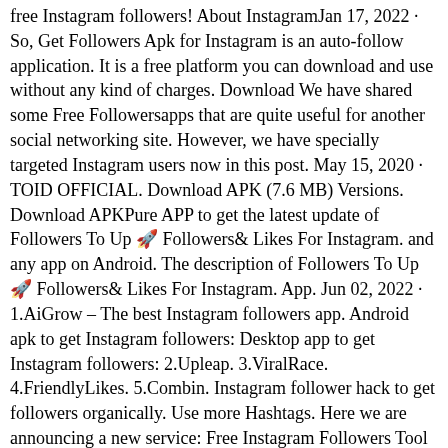free Instagram followers! About InstagramJan 17, 2022 · So, Get Followers Apk for Instagram is an auto-follow application. It is a free platform you can download and use without any kind of charges. Download We have shared some Free Followersapps that are quite useful for another social networking site. However, we have specially targeted Instagram users now in this post. May 15, 2020 · TOID OFFICIAL. Download APK (7.6 MB) Versions. Download APKPure APP to get the latest update of Followers To Up 🚀 Followers& Likes For Instagram. and any app on Android. The description of Followers To Up 🚀 Followers& Likes For Instagram. App. Jun 02, 2022 · 1.AiGrow – The best Instagram followers app. Android apk to get Instagram followers: Desktop app to get Instagram followers: 2.Upleap. 3.ViralRace. 4.FriendlyLikes. 5.Combin. Instagram follower hack to get followers organically. Use more Hashtags. Here we are announcing a new service: Free Instagram Followers Tool from Famoid. It's a 100% Free service and you can use this service every 24 hours. We never ask for your password or any other related information. Therefore, it's 100% Safe to use it. In order to use our new tool, please follow this step;Increasing your popularity and gaining unlimited free followers gives you an edge over all your competitors When people see a high number of followers, Statistics suggest they are 37% more inclined to follow you. This will increase your followers like an avalanche Free $0 Gain Free Followers Real Profiles Deliver Within 48 Hours Go Now Sep 13, 2019 · Instant Followers & Get Likes for...